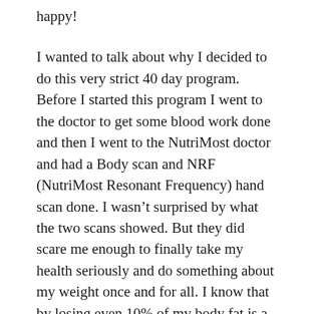happy!
I wanted to talk about why I decided to do this very strict 40 day program. Before I started this program I went to the doctor to get some blood work done and then I went to the NutriMost doctor and had a Body scan and NRF (NutriMost Resonant Frequency) hand scan done. I wasn’t surprised by what the two scans showed. But they did scare me enough to finally take my health seriously and do something about my weight once and for all. I know that by losing even 10% of my body fat is a huge help to my health over all.
Basically, the blood tests, the body scan and